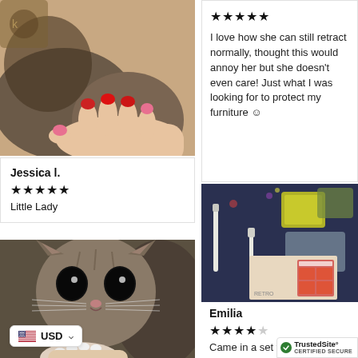[Figure (photo): Cat's paw with pink and red nail caps, held by a person with painted fingernails]
Jessica l.
★★★★★
Little Lady
[Figure (photo): Close-up of a tabby cat with white nail caps on its paw, held by a person]
USD
★★★★★
I love how she can still retract normally, thought this would annoy her but she doesn't even care! Just what I was looking for to protect my furniture ☺
[Figure (photo): Cat nail cap kit contents spread on a blue surface including glue syringes, nail caps in yellow and clear, and instruction sheet]
Emilia
★★★★☆
Came in a set with all glue and instructions. need, haven't tri